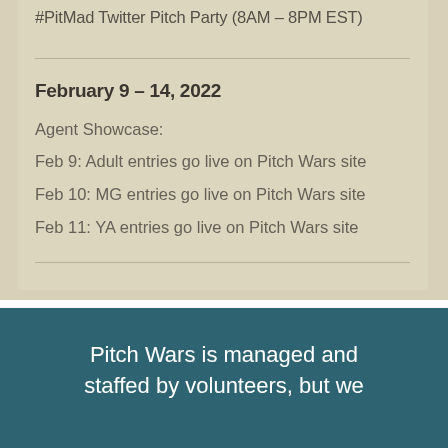#PitMad Twitter Pitch Party (8AM – 8PM EST)
February 9 – 14, 2022
Agent Showcase:
Feb 9: Adult entries go live on Pitch Wars site
Feb 10: MG entries go live on Pitch Wars site
Feb 11: YA entries go live on Pitch Wars site
Pitch Wars is managed and staffed by volunteers, but we